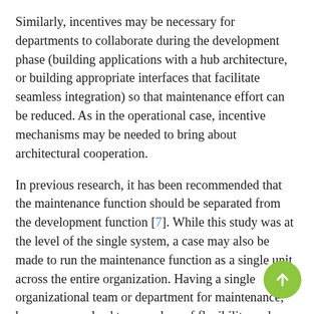Similarly, incentives may be necessary for departments to collaborate during the development phase (building applications with a hub architecture, or building appropriate interfaces that facilitate seamless integration) so that maintenance effort can be reduced. As in the operational case, incentive mechanisms may be needed to bring about architectural cooperation.
In previous research, it has been recommended that the maintenance function should be separated from the development function [7]. While this study was at the level of the single system, a case may also be made to run the maintenance function as a single unit across the entire organization. Having a single organizational team or department for maintenance, however, may lead to some loss of flexibility and control for the end users or the departments that own and directly use certain applications. We therefore believe that economic incentives, rather than organizational structure (centralization of maintenance), are a more appropriate method to solve the problem of optimally maintaining a